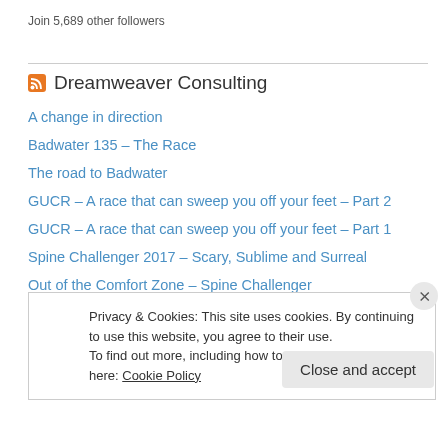Join 5,689 other followers
Dreamweaver Consulting
A change in direction
Badwater 135 – The Race
The road to Badwater
GUCR – A race that can sweep you off your feet – Part 2
GUCR – A race that can sweep you off your feet – Part 1
Spine Challenger 2017 – Scary, Sublime and Surreal
Out of the Comfort Zone – Spine Challenger
Equipment Kit List – 515km through the Grand Canyon and Africa
Privacy & Cookies: This site uses cookies. By continuing to use this website, you agree to their use. To find out more, including how to control cookies, see here: Cookie Policy
Close and accept